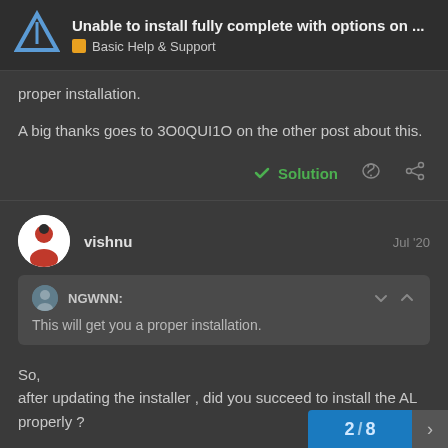Unable to install fully complete with options on ... | Basic Help & Support
proper installation.
A big thanks goes to 3O0QUI1O on the other post about this.
✓ Solution
vishnu  Jul '20
NGWNN: This will get you a proper installation.
So,
after updating the installer , did you succeed to install the AL properly ?
2 / 8